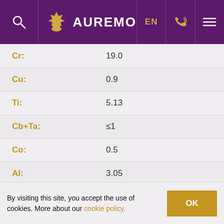AUREMO - EN
| Element | Value |
| --- | --- |
| Cr: | 19.0 |
| Cu: | 0.9 |
| Ti: | 5.13 |
| Cb+Ta: | ≤1 |
| Co: | 0.5 |
| Al: | 3.05 |
| Mo: | 18.5 |
| Fe: |  |
| Mn: |  |
By visiting this site, you accept the use of cookies. More about our cookie policy.